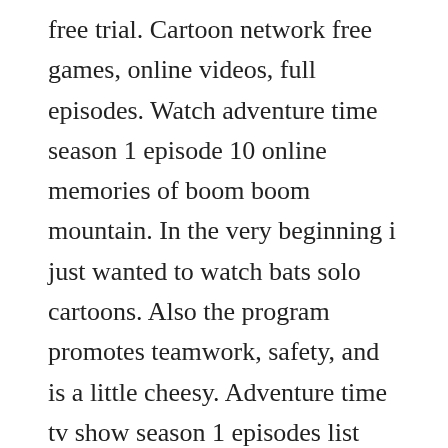free trial. Cartoon network free games, online videos, full episodes. Watch adventure time season 1 episode 10 online memories of boom boom mountain. In the very beginning i just wanted to watch bats solo cartoons. Also the program promotes teamwork, safety, and is a little cheesy. Adventure time tv show season 1 episodes list next episode. In this genderswapped episode, fionna and cake must battle the evil ice queen. Jake, a wise old dog with a big kind heart, and finn, a silly kid who wants more than anything else to become a